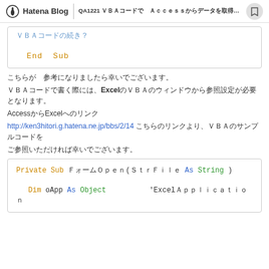Hatena Blog  QA1221 ＶＢＡコードで　Ａｃｃｅｓｓからデータを取得する方法を教えていただけますか
（コードの続き）?
End Sub
こちらが　参考になりましたら幸いでございます。
ＶＢＡコードで書く際には、ExcelのＶＢＡのウィンドウから参照設定が必要となります。
AccessからExcelへのリンク
http://ken3hitori.g.hatena.ne.jp/bbs/2/14  こちらのリンクより、ＶＢＡのサンプルコードをご参照いただければ幸いでございます。
Private Sub ＦォームＯｐｅｎ(ＳｔｒＦｉｌｅ  As String)
    Dim oApp As Object      'ExcelＡｐｐｌｉｃａｔｉｏｎ